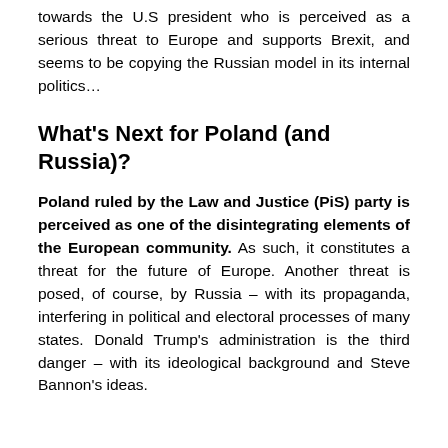towards the U.S president who is perceived as a serious threat to Europe and supports Brexit, and seems to be copying the Russian model in its internal politics…
What's Next for Poland (and Russia)?
Poland ruled by the Law and Justice (PiS) party is perceived as one of the disintegrating elements of the European community. As such, it constitutes a threat for the future of Europe. Another threat is posed, of course, by Russia – with its propaganda, interfering in political and electoral processes of many states. Donald Trump's administration is the third danger – with its ideological background and Steve Bannon's ideas.